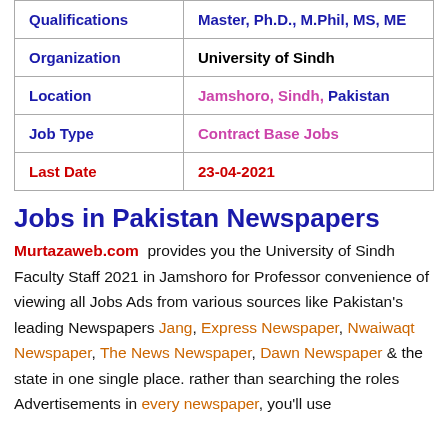| Qualifications | Master, Ph.D., M.Phil, MS, ME |
| Organization | University of Sindh |
| Location | Jamshoro, Sindh, Pakistan |
| Job Type | Contract Base Jobs |
| Last Date | 23-04-2021 |
Jobs in Pakistan Newspapers
Murtazaweb.com provides you the University of Sindh Faculty Staff 2021 in Jamshoro for Professor convenience of viewing all Jobs Ads from various sources like Pakistan's leading Newspapers Jang, Express Newspaper, Nwaiwaqt Newspaper, The News Newspaper, Dawn Newspaper & the state in one single place. rather than searching the roles Advertisements in every newspaper, you'll use